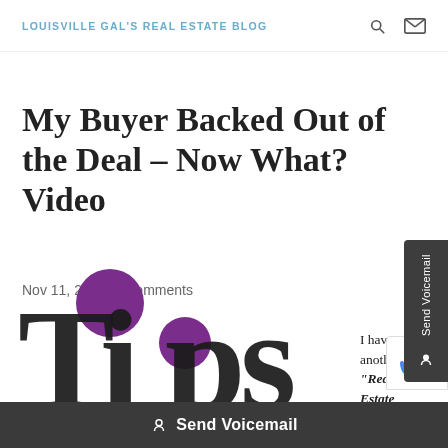LOUISVILLE GAL'S REAL ESTATE BLOG
My Buyer Backed Out of the Deal – Now What? Video
Nov 11, 2015 | 0 comments
I have another "Real Estate Quick Tip" for you today
[Figure (illustration): Tips graphic with purple circles and large black letters spelling TIPS]
Share This   Send Voicemail